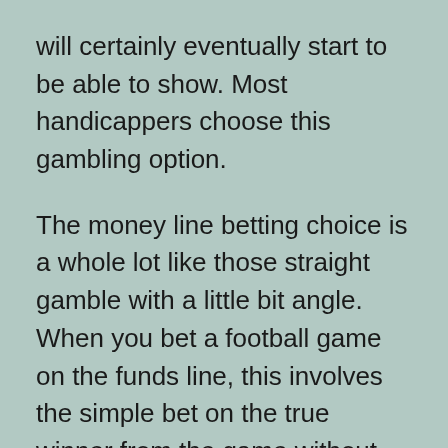will certainly eventually start to be able to show. Most handicappers choose this gambling option.
The money line betting choice is a whole lot like those straight gamble with a little bit angle. When you bet a football game on the funds line, this involves the simple bet on the true winner from the game without some sort of point spread. Permits resume the example we used throughout the straight wager. In the direct bet, we appreciated the Bengals -5 within the Texans. Using the money line bet,